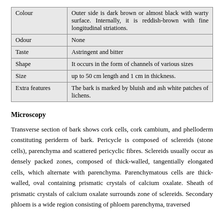| Property | Description |
| --- | --- |
| Colour | Outer side is dark brown or almost black with warty surface. Internally, it is reddish-brown with fine longitudinal striations. |
| Odour | None |
| Taste | Astringent and bitter |
| Shape | It occurs in the form of channels of various sizes |
| Size | up to 50 cm length and 1 cm in thickness. |
| Extra features | The bark is marked by bluish and ash white patches of lichens. |
Microscopy
Transverse section of bark shows cork cells, cork cambium, and phelloderm constituting periderm of bark. Pericycle is composed of sclereids (stone cells), parenchyma and scattered pericyclic fibres. Sclereids usually occur as densely packed zones, composed of thick-walled, tangentially elongated cells, which alternate with parenchyma. Parenchymatous cells are thick-walled, oval containing prismatic crystals of calcium oxalate. Sheath of prismatic crystals of calcium oxalate surrounds zone of sclereids. Secondary phloem is a wide region consisting of phloem parenchyma, traversed